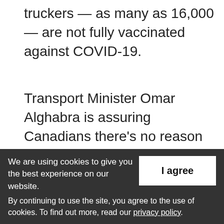truckers — as many as 16,000 — are not fully vaccinated against COVID-19.
Transport Minister Omar Alghabra is assuring Canadians there's no reason to fear food shortages will result from a small minority of truck drivers refusing to comply with a vaccine mandate in order to cross the Canada-U.S. border.
In an interview, Alghabra said the large
We are using cookies to give you the best experience on our website.
By continuing to use the site, you agree to the use of cookies. To find out more, read our privacy policy.